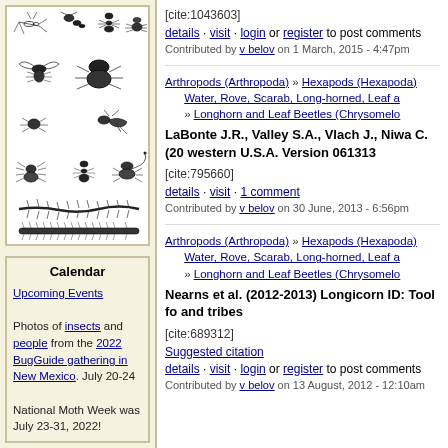[Figure (illustration): Collection of illustrated insects and arthropods including ants, beetles, grasshopper, fly, scorpion, and centipedes in black and white engravings]
Calendar
Upcoming Events
Photos of insects and people from the 2022 BugGuide gathering in New Mexico. July 20-24
National Moth Week was July 23-31, 2022!
[cite:1043603]
details · visit · login or register to post comments
Contributed by v belov on 1 March, 2015 - 4:47pm
Arthropods (Arthropoda) » Hexapods (Hexapoda) » Water, Rove, Scarab, Long-horned, Leaf a » Longhorn and Leaf Beetles (Chrysomelo
LaBonte J.R., Valley S.A., Vlach J., Niwa C. (20 western U.S.A. Version 061313
[cite:795660]
details · visit · 1 comment
Contributed by v belov on 30 June, 2013 - 6:56pm
Arthropods (Arthropoda) » Hexapods (Hexapoda) » Water, Rove, Scarab, Long-horned, Leaf a » Longhorn and Leaf Beetles (Chrysomelo
Nearns et al. (2012-2013) Longicorn ID: Tool fo and tribes
[cite:689312]
Suggested citation
details · visit · login or register to post comments
Contributed by v belov on 13 August, 2012 - 12:10am